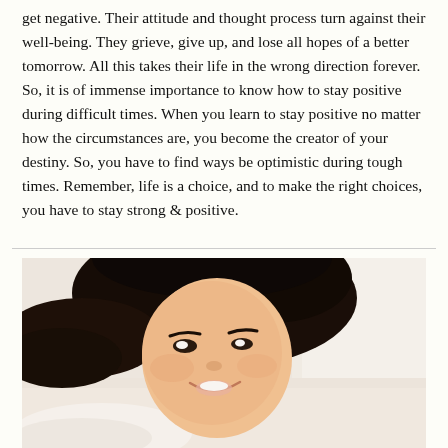get negative. Their attitude and thought process turn against their well-being. They grieve, give up, and lose all hopes of a better tomorrow. All this takes their life in the wrong direction forever. So, it is of immense importance to know how to stay positive during difficult times. When you learn to stay positive no matter how the circumstances are, you become the creator of your destiny. So, you have to find ways be optimistic during tough times. Remember, life is a choice, and to make the right choices, you have to stay strong & positive.
[Figure (photo): A smiling young woman with dark hair lying down on white pillows, looking at the camera with a warm smile.]